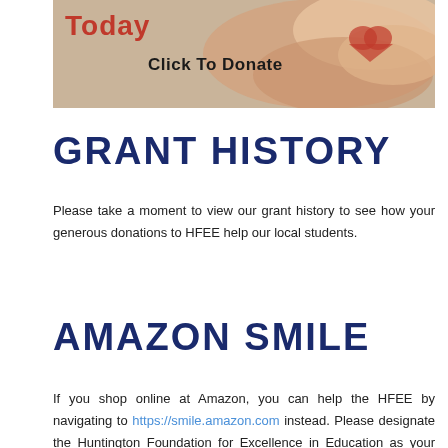[Figure (photo): Banner image with hands and donation call-to-action. Text reads 'Today' in red and 'Click To Donate' in bold black. Background shows hands holding a heart.]
GRANT HISTORY
Please take a moment to view our grant history to see how your generous donations to HFEE help our local students.
View Grant History
AMAZON SMILE
If you shop online at Amazon, you can help the HFEE by navigating to https://smile.amazon.com instead. Please designate the Huntington Foundation for Excellence in Education as your charity, and Amazon donates a portion